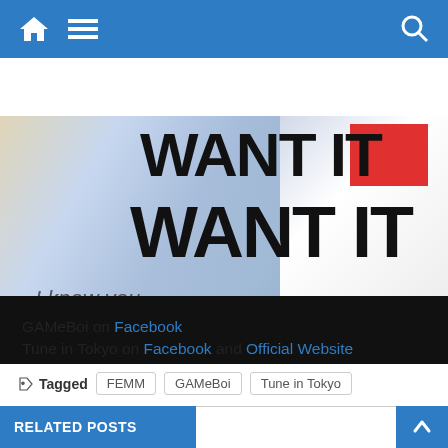Navigation bar with home, menu, and search icons
[Figure (photo): Music video screenshot showing a blonde figure on the left with text overlaid reading 'WANT IT' (top) and 'WANT IT' (bottom) in large black bold font, with a red box partially visible, text 'I know you...' in italics, and a black bar at the bottom.]
GAMeBoi on Facebook
Tune in Tokyo on Facebook and Official Website
Tagged  FEMM  GAMeBoi  Tune in Tokyo
RELATED POSTS